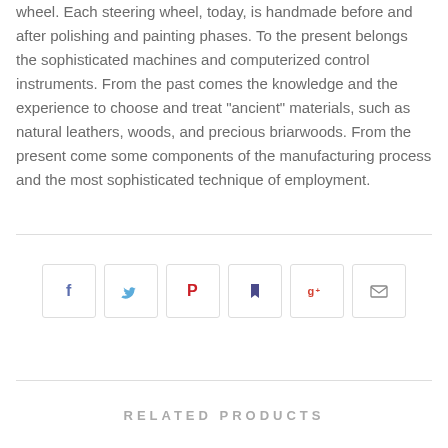wheel. Each steering wheel, today, is handmade before and after polishing and painting phases. To the present belongs the sophisticated machines and computerized control instruments. From the past comes the knowledge and the experience to choose and treat "ancient" materials, such as natural leathers, woods, and precious briarwoods. From the present come some components of the manufacturing process and the most sophisticated technique of employment.
[Figure (infographic): Row of six social sharing buttons: Facebook (f), Twitter (bird icon), Pinterest (P), Delicious/bookmark icon, Google+ (g+), and Email (envelope icon)]
RELATED PRODUCTS